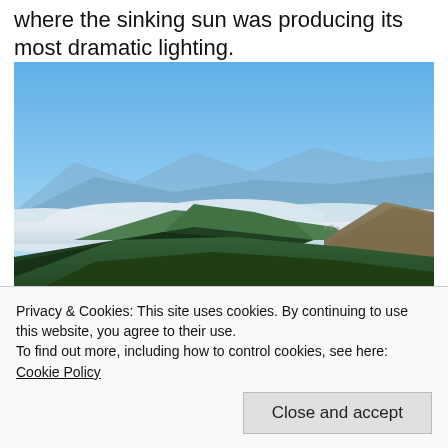where the sinking sun was producing its most dramatic lighting.
[Figure (photo): Landscape photo of a mountain vista with a sea of clouds filling the valley below, green forested slopes in the foreground, blue sky above, and distant mountains on the horizon.]
Privacy & Cookies: This site uses cookies. By continuing to use this website, you agree to their use.
To find out more, including how to control cookies, see here: Cookie Policy
Close and accept